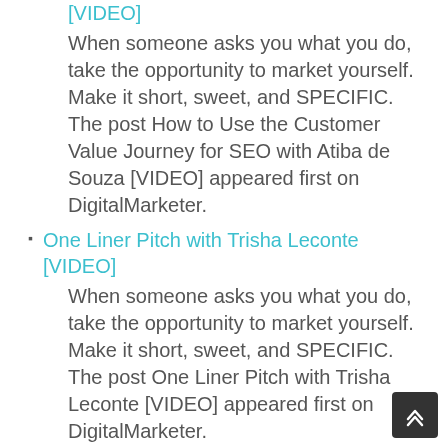[VIDEO]
When someone asks you what you do, take the opportunity to market yourself. Make it short, sweet, and SPECIFIC. The post How to Use the Customer Value Journey for SEO with Atiba de Souza [VIDEO] appeared first on DigitalMarketer.
One Liner Pitch with Trisha Leconte [VIDEO]
When someone asks you what you do, take the opportunity to market yourself. Make it short, sweet, and SPECIFIC. The post One Liner Pitch with Trisha Leconte [VIDEO] appeared first on DigitalMarketer.
Help Build Your Brand with Strategic Partnerships with Jeff J Hunter